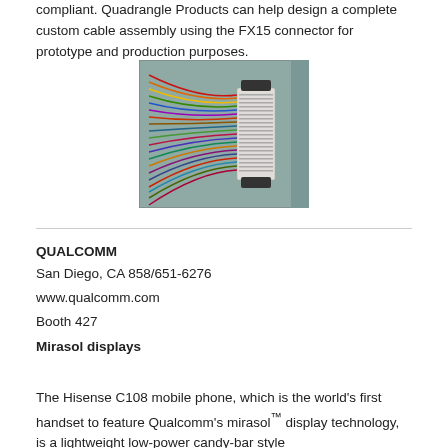compliant. Quadrangle Products can help design a complete custom cable assembly using the FX15 connector for prototype and production purposes.
[Figure (photo): Photo of a custom cable assembly using the FX15 connector, showing colorful ribbon-style wires fanned out and plugged into a white rectangular connector mounted on a teal/gray surface.]
QUALCOMM
San Diego, CA 858/651-6276
www.qualcomm.com
Booth 427
Mirasol displays
The Hisense C108 mobile phone, which is the world's first handset to feature Qualcomm's mirasol™ display technology, is a lightweight low-power candy-bar style